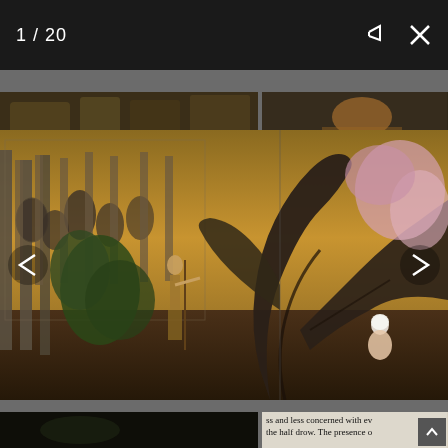1 / 20
[Figure (screenshot): A screenshot of an image viewer/gallery interface showing a 3D rendered fantasy scene. The main image shows several fantasy warrior women figures in a ruined stone courtyard with large twisted trees and a golden sky. Two smaller thumbnail images are partially visible at the top, and two more at the bottom. Navigation arrows are visible on left and right sides.]
ss and less concerned with ev the half drow. The presence o